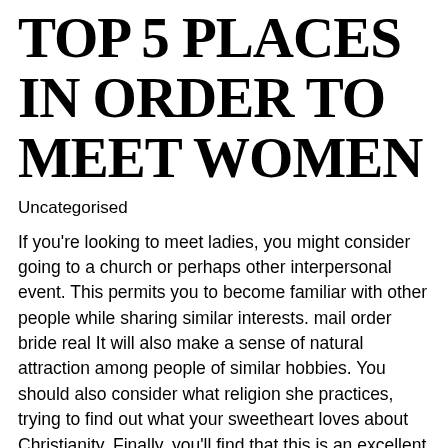TOP 5 PLACES IN ORDER TO MEET WOMEN
Uncategorised
If you're looking to meet ladies, you might consider going to a church or perhaps other interpersonal event. This permits you to become familiar with other people while sharing similar interests. mail order bride real It will also make a sense of natural attraction among people of similar hobbies. You should also consider what religion she practices, trying to find out what your sweetheart loves about Christianity. Finally, you'll find that this is an excellent place to match women.
An alternative place that women go to is definitely bars. You can ask a girl out quickly should you know what your